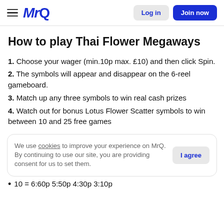MrQ — Log in | Join now
How to play Thai Flower Megaways
1. Choose your wager (min.10p max. £10) and then click Spin.
2. The symbols will appear and disappear on the 6-reel gameboard.
3. Match up any three symbols to win real cash prizes
4. Watch out for bonus Lotus Flower Scatter symbols to win between 10 and 25 free games
We use cookies to improve your experience on MrQ. By continuing to use our site, you are providing consent for us to set them.
10 = 6:60p 5:50p 4:30p 3:10p